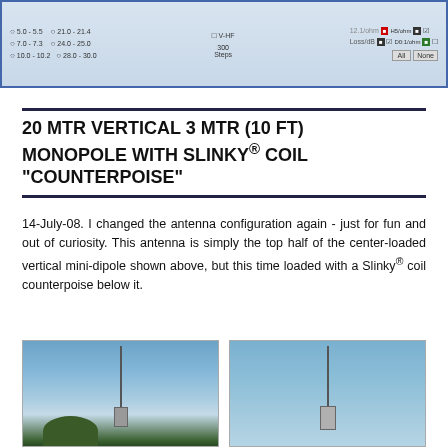[Figure (screenshot): Software interface screenshot showing antenna frequency range selection options and measurement controls with radio buttons for different frequency ranges (5.0-5.5, 7.0-7.3, 10.0-10.2, 21.0-21.4, 24.0-25.0, 28.0-30.0 MHz), steps field, and impedance/loss display controls]
20 MTR VERTICAL 3 MTR (10 FT) MONOPOLE WITH SLINKY® COIL "COUNTERPOISE"
14-July-08. I changed the antenna configuration again - just for fun and out of curiosity. This antenna is simply the top half of the center-loaded vertical mini-dipole shown above, but this time loaded with a Slinky® coil counterpoise below it.
[Figure (photo): Photograph of a vertical antenna monopole against a blue sky with some clouds and trees visible at the bottom]
[Figure (photo): Photograph of a vertical antenna monopole against a clear blue sky]